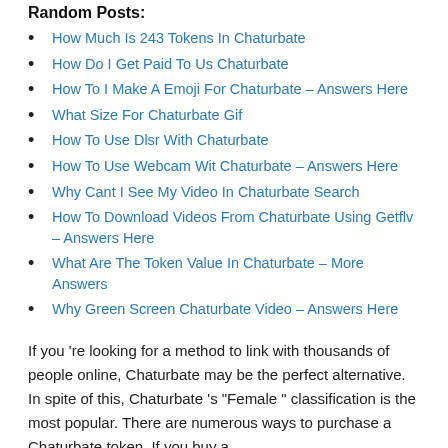Random Posts:
How Much Is 243 Tokens In Chaturbate
How Do I Get Paid To Us Chaturbate
How To I Make A Emoji For Chaturbate – Answers Here
What Size For Chaturbate Gif
How To Use Dlsr With Chaturbate
How To Use Webcam Wit Chaturbate – Answers Here
Why Cant I See My Video In Chaturbate Search
How To Download Videos From Chaturbate Using Getflv – Answers Here
What Are The Token Value In Chaturbate – More Answers
Why Green Screen Chaturbate Video – Answers Here
If you 're looking for a method to link with thousands of people online, Chaturbate may be the perfect alternative. In spite of this, Chaturbate 's "Female " classification is the most popular. There are numerous ways to purchase a Chaturbate token. If you buy a